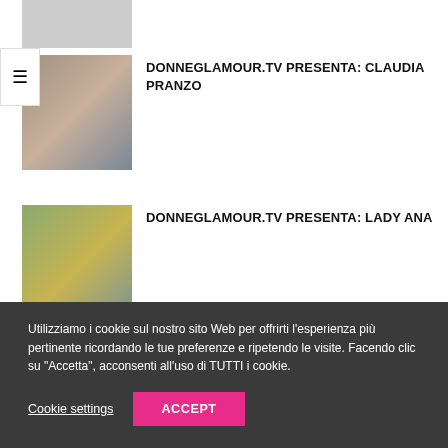[Figure (photo): Grey placeholder image at top]
[Figure (photo): Hamburger menu icon]
[Figure (photo): Thumbnail image of Claudia Pranzo]
DONNEGLAMOUR.TV PRESENTA: CLAUDIA PRANZO
[Figure (photo): Thumbnail image of Lady Ana]
DONNEGLAMOUR.TV PRESENTA: LADY ANA
[Figure (photo): Thumbnail image of Noemi Blonde]
DONNEGLAMOUR.TV PRESENTA: NOEMI BLONDE
Utilizziamo i cookie sul nostro sito Web per offrirti l'esperienza più pertinente ricordando le tue preferenze e ripetendo le visite. Facendo clic su "Accetta", acconsenti all'uso di TUTTI i cookie.
Cookie settings
ACCEPT